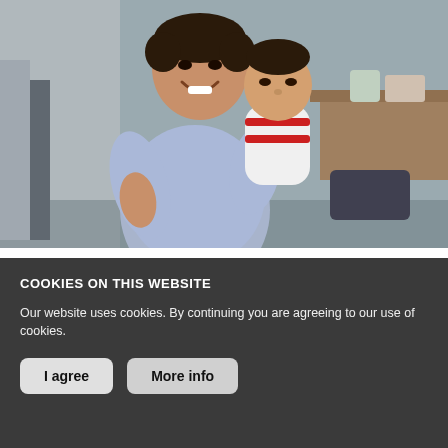[Figure (photo): A smiling man holding a young child, photographed indoors in a simple room setting. The man is wearing a light blue patterned shirt and the child is wearing a white and red striped outfit.]
STORIES FROM PATIENTS & STAFF
Five people, five reasons to remove monopolies on medicines
COOKIES ON THIS WEBSITE
Our website uses cookies. By continuing you are agreeing to our use of cookies.
I agree    More info